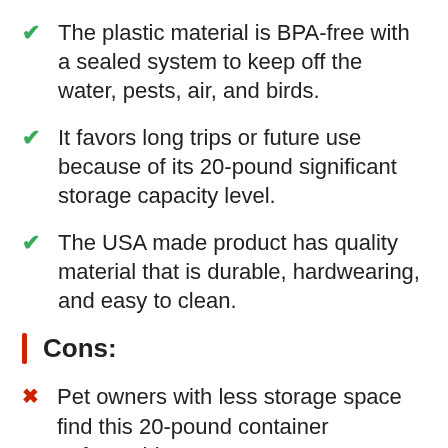The plastic material is BPA-free with a sealed system to keep off the water, pests, air, and birds.
It favors long trips or future use because of its 20-pound significant storage capacity level.
The USA made product has quality material that is durable, hardwearing, and easy to clean.
Cons:
Pet owners with less storage space find this 20-pound container unfavorable.